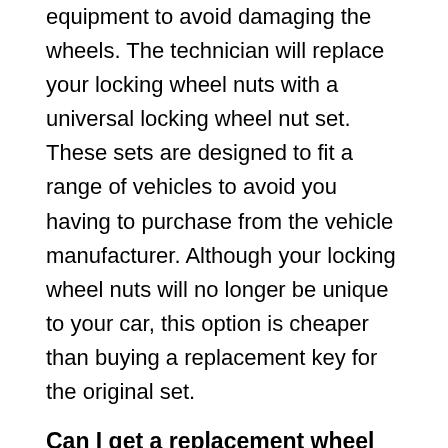equipment to avoid damaging the wheels. The technician will replace your locking wheel nuts with a universal locking wheel nut set. These sets are designed to fit a range of vehicles to avoid you having to purchase from the vehicle manufacturer. Although your locking wheel nuts will no longer be unique to your car, this option is cheaper than buying a replacement key for the original set.
Can I get a replacement wheel nut key?
Yes, if you'd like to continue using the original locking wheel nut set that came with your car, then you'll need to buy a replacement locking wheel nut key, but this is the more expensive option. Each key has its own unique code, so you can order a replacement directly from the